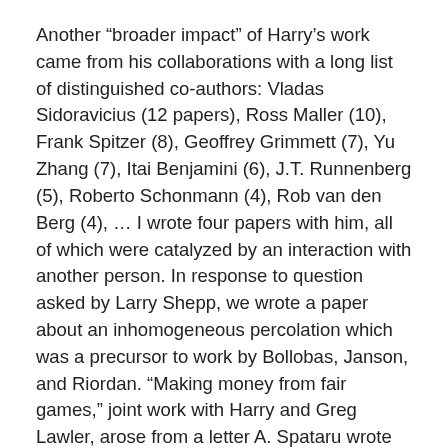Another “broader impact” of Harry’s work came from his collaborations with a long list of distinguished co-authors: Vladas Sidoravicius (12 papers), Ross Maller (10), Frank Spitzer (8), Geoffrey Grimmett (7), Yu Zhang (7), Itai Benjamini (6), J.T. Runnenberg (5), Roberto Schonmann (4), Rob van den Berg (4), … I wrote four papers with him, all of which were catalyzed by an interaction with another person. In response to question asked by Larry Shepp, we wrote a paper about an inhomogeneous percolation which was a precursor to work by Bollobas, Janson, and Riordan. “Making money from fair games,” joint work with Harry and Greg Lawler, arose from a letter A. Spataru wrote to Frank Spitzer. I left it to Harry and Greg to sort out the necessary conditions.
Harry wrote three papers with Jennifer Chayes. With a leather-jacketed Cornell postdoc, her husband Lincoln Chayes, Geoff Grimmett and Roberto Schonmann, he